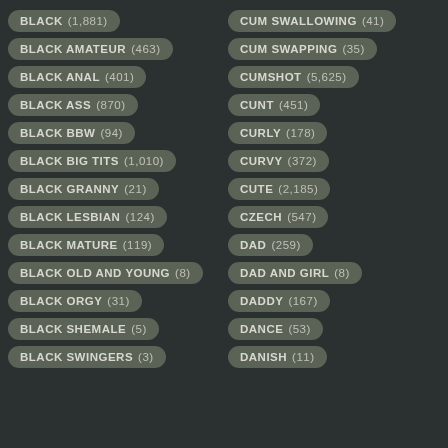BLACK (1,881)
CUM SWALLOWING (41)
BLACK AMATEUR (463)
CUM SWAPPING (35)
BLACK ANAL (401)
CUMSHOT (5,625)
BLACK ASS (870)
CUNT (451)
BLACK BBW (94)
CURLY (178)
BLACK BIG TITS (1,010)
CURVY (372)
BLACK GRANNY (21)
CUTE (2,185)
BLACK LESBIAN (124)
CZECH (547)
BLACK MATURE (119)
DAD (259)
BLACK OLD AND YOUNG (8)
DAD AND GIRL (8)
BLACK ORGY (31)
DADDY (167)
BLACK SHEMALE (5)
DANCE (53)
BLACK SWINGERS (3)
DANISH (11)